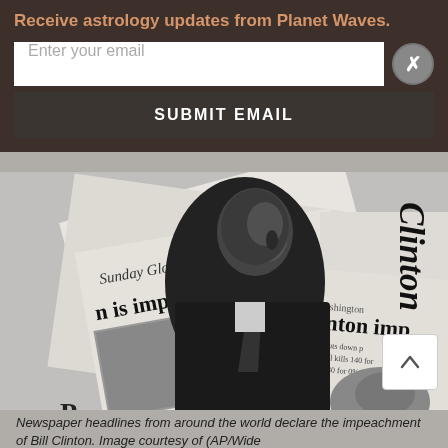Receive astrology updates from Planet Waves.
Enter your email
SUBMIT EMAIL
[Figure (photo): Black and white photograph of Bill Clinton surrounded by newspaper front pages with headlines about his impeachment. Visible newspapers include the Sunday Globe with 'is impeached' headline and papers showing 'Clinton imp'. Newspaper headlines from around the world declare the impeachment of Bill Clinton.]
Newspaper headlines from around the world declare the impeachment of Bill Clinton. Image courtesy of (AP/Wide